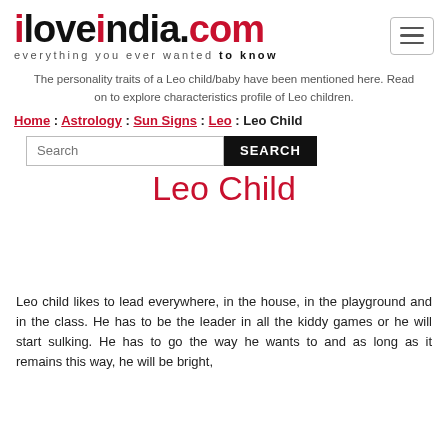[Figure (logo): iloveindia.com logo with tagline 'everything you ever wanted to know']
The personality traits of a Leo child/baby have been mentioned here. Read on to explore characteristics profile of Leo children.
Home : Astrology : Sun Signs : Leo : Leo Child
Search [search box] SEARCH
Leo Child
Leo child likes to lead everywhere, in the house, in the playground and in the class. He has to be the leader in all the kiddy games or he will start sulking. He has to go the way he wants to and as long as it remains this way, he will be bright,